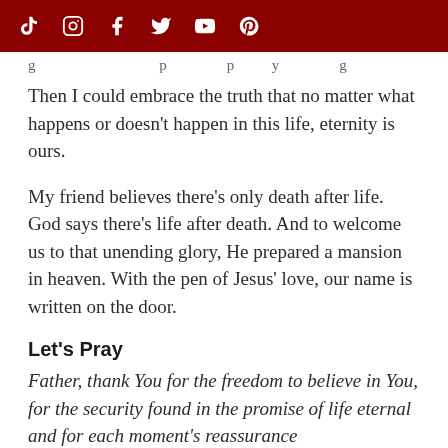Social media icons: TikTok, Instagram, Facebook, Twitter, YouTube, Pinterest
g ... p ... p ... y ... g
Then I could embrace the truth that no matter what happens or doesn't happen in this life, eternity is ours.
My friend believes there's only death after life. God says there's life after death. And to welcome us to that unending glory, He prepared a mansion in heaven. With the pen of Jesus' love, our name is written on the door.
Let's Pray
Father, thank You for the freedom to believe in You, for the security found in the promise of life eternal and for each moment's reassurance